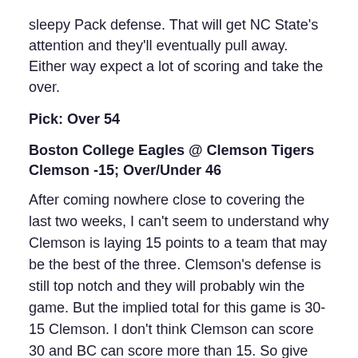sleepy Pack defense. That will get NC State's attention and they'll eventually pull away. Either way expect a lot of scoring and take the over.
Pick: Over 54
Boston College Eagles @ Clemson Tigers
Clemson -15; Over/Under 46
After coming nowhere close to covering the last two weeks, I can't seem to understand why Clemson is laying 15 points to a team that may be the best of the three. Clemson's defense is still top notch and they will probably win the game. But the implied total for this game is 30-15 Clemson. I don't think Clemson can score 30 and BC can score more than 15. So give me the Eagles and the points.